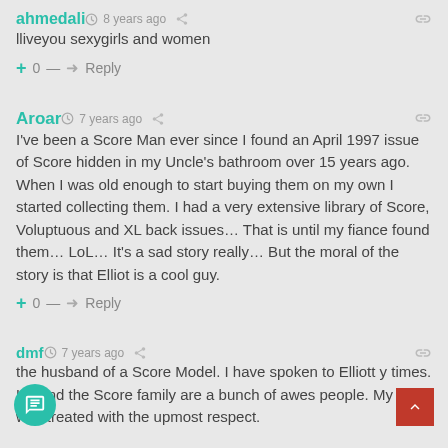ahmedali · 8 years ago
lliveyou sexygirls and women
+ 0 — ➜ Reply
Aroar · 7 years ago
I've been a Score Man ever since I found an April 1997 issue of Score hidden in my Uncle's bathroom over 15 years ago. When I was old enough to start buying them on my own I started collecting them. I had a very extensive library of Score, Voluptuous and XL back issues… That is until my fiance found them… LoL… It's a sad story really… But the moral of the story is that Elliot is a cool guy.
+ 0 — ➜ Reply
dmf · 7 years ago
the husband of a Score Model. I have spoken to Elliott y times. He and the Score family are a bunch of awes people. My wife was treated with the upmost respect.